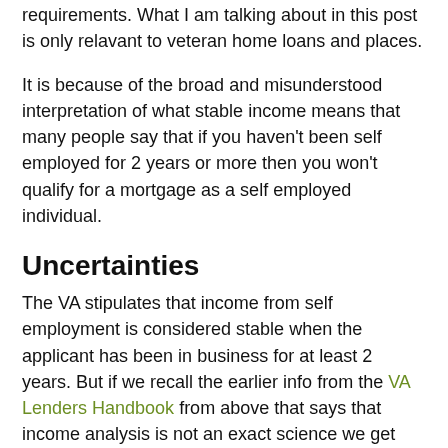requirements. What I am talking about in this post is only relavant to veteran home loans and places.
It is because of the broad and misunderstood interpretation of what stable income means that many people say that if you haven't been self employed for 2 years or more then you won't qualify for a mortgage as a self employed individual.
Uncertainties
The VA stipulates that income from self employment is considered stable when the applicant has been in business for at least 2 years. But if we recall the earlier info from the VA Lenders Handbook from above that says that income analysis is not an exact science we get ourselves into the gray area about being self employed and qualifying for a veteran